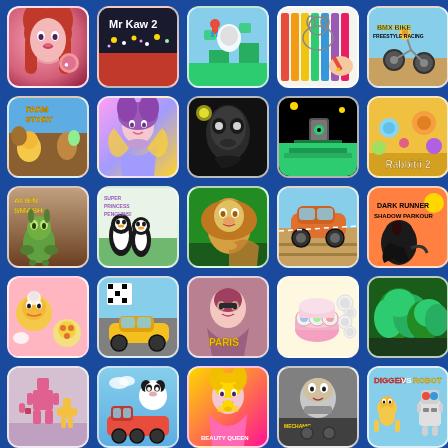[Figure (screenshot): Grid of 25 mobile game thumbnails on blue background. Row 1: Makeup girl game, Mr Kaw 2, platformer game, coloring book game, BMX Bike Freestyle Racing. Row 2: Farm Story, Princess game, horror/Granny game, puzzle platformer, Rabbitii 2. Row 3: Alien Smash, penguin princess game, lion adventure, car racing, Dark Runner Shadow Parkour. Row 4: Cooking game, racing with checkered flag, Paris fashion game, cake decoration, jungle/palm tree game. Row 5: Stickman pixel game, panda train game, beauty pageant game, mechanic game, Digger vs game.]